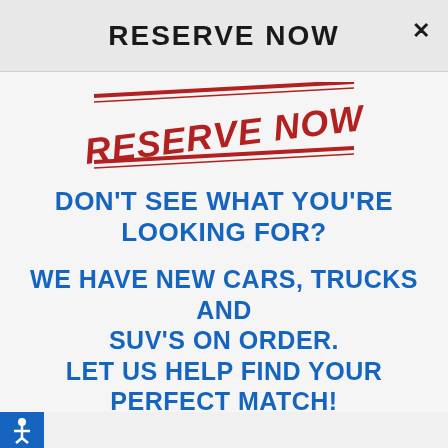RESERVE NOW
[Figure (illustration): Red rubber stamp graphic with text 'RESERVE NOW' on a diagonal angle, with decorative border lines above and below]
DON'T SEE WHAT YOU'RE LOOKING FOR?
WE HAVE NEW CARS, TRUCKS AND SUV'S ON ORDER. LET US HELP FIND YOUR PERFECT MATCH!